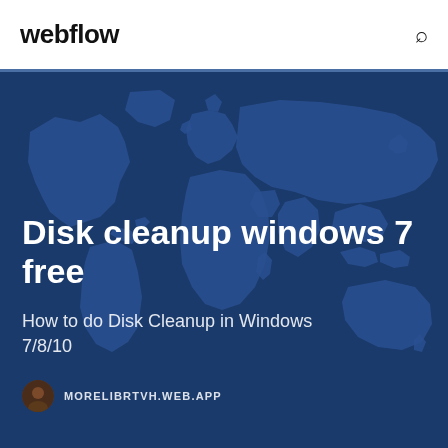webflow
[Figure (illustration): World map silhouette in shades of blue on dark navy background, used as hero image background]
Disk cleanup windows 7 free
How to do Disk Cleanup in Windows 7/8/10
MORELIBRTVH.WEB.APP